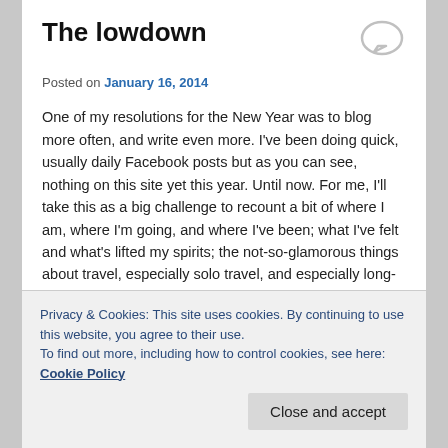The lowdown
Posted on January 16, 2014
One of my resolutions for the New Year was to blog more often, and write even more. I've been doing quick, usually daily Facebook posts but as you can see, nothing on this site yet this year. Until now. For me, I'll take this as a big challenge to recount a bit of where I am, where I'm going, and where I've been; what I've felt and what's lifted my spirits; the not-so-glamorous things about travel, especially solo travel, and especially long-term solo travel; and really most profoundly, why I continue to travel and my reasons and motivations behind it.
Privacy & Cookies: This site uses cookies. By continuing to use this website, you agree to their use. To find out more, including how to control cookies, see here: Cookie Policy
Close and accept
call as friends.